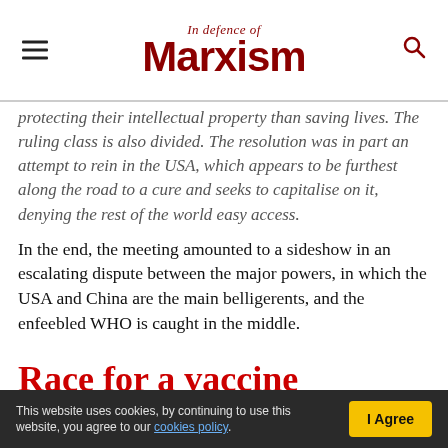In Defence of Marxism
protecting their intellectual property than saving lives. The ruling class is also divided. The resolution was in part an attempt to rein in the USA, which appears to be furthest along the road to a cure and seeks to capitalise on it, denying the rest of the world easy access.
In the end, the meeting amounted to a sideshow in an escalating dispute between the major powers, in which the USA and China are the main belligerents, and the enfeebled WHO is caught in the middle.
Race for a vaccine
This website uses cookies, by continuing to use this website, you agree to our cookies policy.